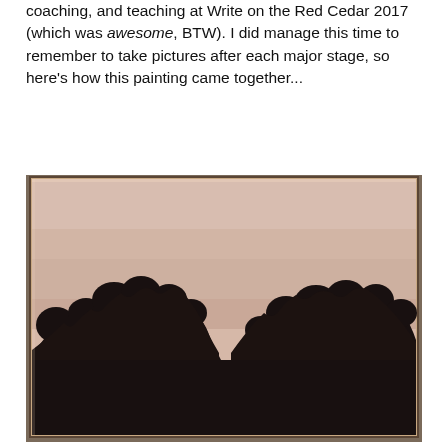coaching, and teaching at Write on the Red Cedar 2017 (which was awesome, BTW). I did manage this time to remember to take pictures after each major stage, so here's how this painting came together...
[Figure (photo): A painting on canvas photographed at an early stage. The canvas has a light pinkish-beige background in the upper portion, and the lower portion shows dark, nearly black silhouette of tree foliage filling the bottom half against the light sky background.]